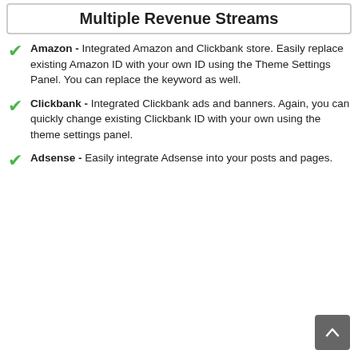Multiple Revenue Streams
Amazon - Integrated Amazon and Clickbank store. Easily replace existing Amazon ID with your own ID using the Theme Settings Panel. You can replace the keyword as well.
Clickbank - Integrated Clickbank ads and banners. Again, you can quickly change existing Clickbank ID with your own using the theme settings panel.
Adsense - Easily integrate Adsense into your posts and pages.